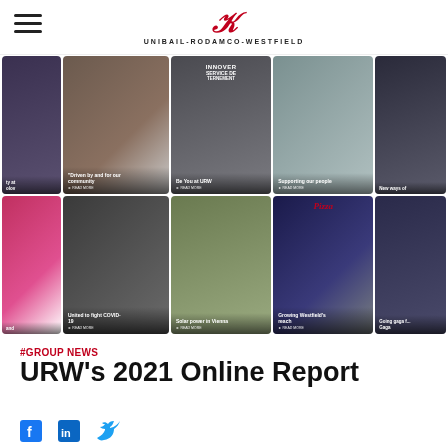UNIBAIL-RODAMCO-WESTFIELD
[Figure (photo): Grid of 10 photo cards showing various URW scenes and stories including 'Driven by and for our community', 'Be You at URW', 'Supporting our people', 'New ways of...', 'United to fight COVID-19', 'Solar power in Vienna', 'Growing Westfield's reach', 'Going gaga for... Gaga']
#GROUP NEWS
URW's 2021 Online Report
[Figure (illustration): Social media icons: Facebook, LinkedIn, Twitter]